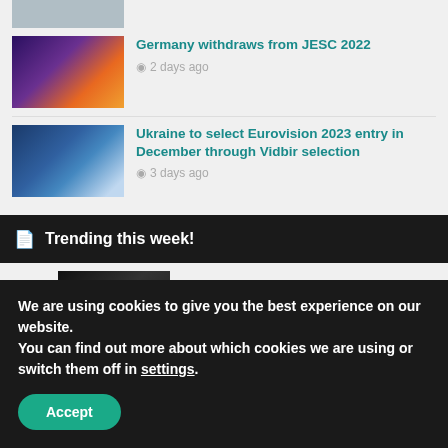[Figure (photo): Partial top image, person in grey/blue]
[Figure (photo): Eurovision stage with purple and orange lighting]
Germany withdraws from JESC 2022
2 days ago
[Figure (photo): Ukraine winners holding trophy with blue and yellow flag]
Ukraine to select Eurovision 2023 entry in December through Vidbir selection
3 days ago
Trending this week!
RTL confirm Luxembourg will not return to
We are using cookies to give you the best experience on our website.
You can find out more about which cookies we are using or switch them off in settings.